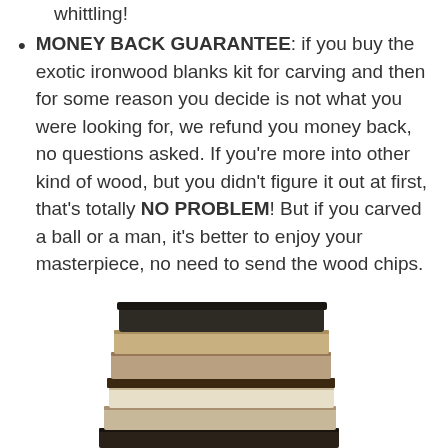whittling!
MONEY BACK GUARANTEE: if you buy the exotic ironwood blanks kit for carving and then for some reason you decide is not what you were looking for, we refund you money back, no questions asked. If you're more into other kind of wood, but you didn't figure it out at first, that's totally NO PROBLEM! But if you carved a ball or a man, it's better to enjoy your masterpiece, no need to send the wood chips.
[Figure (photo): A stack of books photographed from the side, showing multiple layered volumes with varying shades of brown, tan, and dark covers]